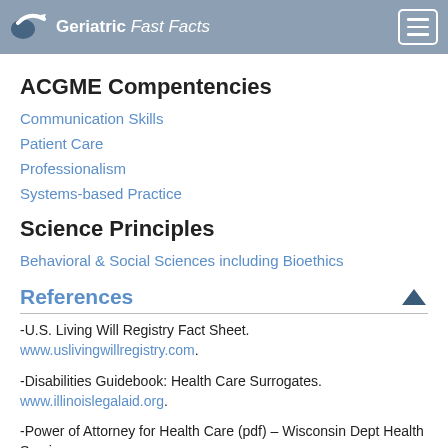Geriatric Fast Facts
ACGME Compentencies
Communication Skills
Patient Care
Professionalism
Systems-based Practice
Science Principles
Behavioral & Social Sciences including Bioethics
References
-U.S. Living Will Registry Fact Sheet. www.uslivingwillregistry.com.
-Disabilities Guidebook: Health Care Surrogates. www.illinoislegalaid.org.
-Power of Attorney for Health Care (pdf) – Wisconsin Dept Health Services.